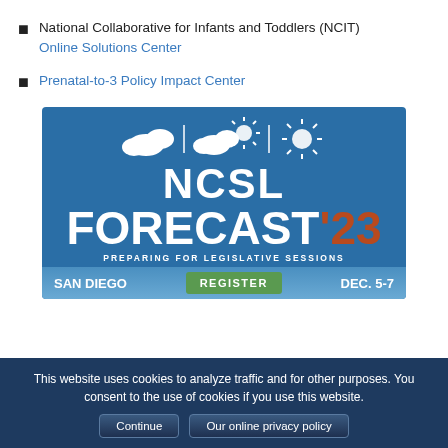National Collaborative for Infants and Toddlers (NCIT) Online Solutions Center
Prenatal-to-3 Policy Impact Center
[Figure (illustration): NCSL Forecast '23 conference advertisement banner. Blue background with weather icons (clouds and sun), large white text 'NCSL FORECAST' with '23 in brown/rust color, subtitle 'PREPARING FOR LEGISLATIVE SESSIONS', bottom bar showing 'SAN DIEGO', green REGISTER button, and 'DEC. 5-7']
This website uses cookies to analyze traffic and for other purposes. You consent to the use of cookies if you use this website. [Continue] [Our online privacy policy]